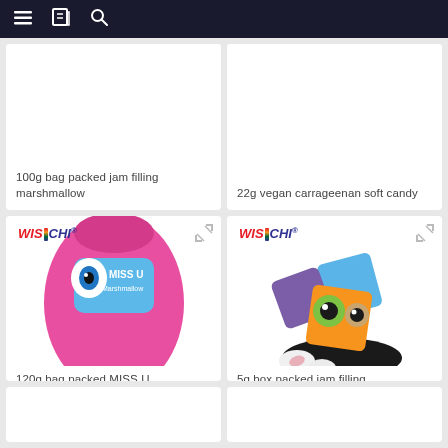Navigation bar with menu, catalog, and search icons
100g bag packed jam filling marshmallow
22g vegan carrageenan soft candy
[Figure (photo): WISICHI branded 120g bag of MISS U marshmallow product with pink marshmallow pieces spilling out]
120g bag packed MISS U marshmallow
[Figure (photo): WISICHI branded 5g box packed jam filling marshmallow with colorful monster-face packages and white marshmallow pieces]
5g box packed jam filling marshmallow